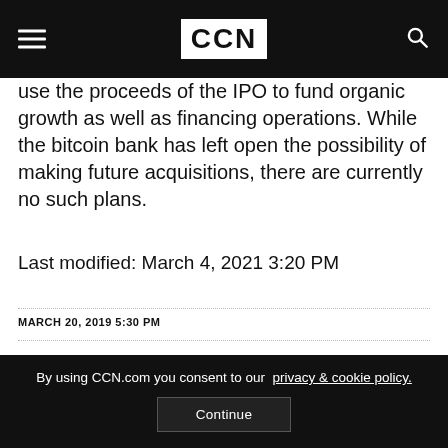CCN
use the proceeds of the IPO to fund organic growth as well as financing operations. While the bitcoin bank has left open the possibility of making future acquisitions, there are currently no such plans.
Last modified: March 4, 2021 3:20 PM
MARCH 20, 2019 5:30 PM
By using CCN.com you consent to our privacy & cookie policy.
Continue